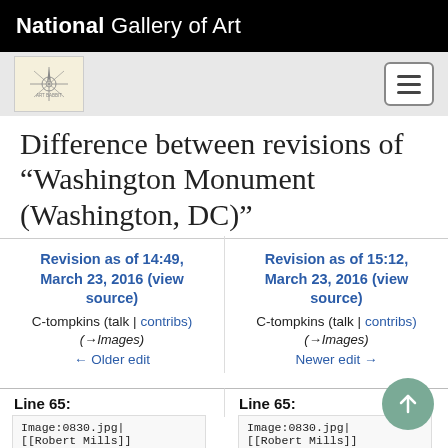National Gallery of Art
Difference between revisions of "Washington Monument (Washington, DC)"
Revision as of 14:49, March 23, 2016 (view source)
C-tompkins (talk | contribs)
(→Images)
← Older edit
Revision as of 15:12, March 23, 2016 (view source)
C-tompkins (talk | contribs)
(→Images)
Newer edit →
Line 65:
Line 65:
Image:0830.jpg|
[[Robert Mills]]
Image:0830.jpg|
[[Robert Mills]]